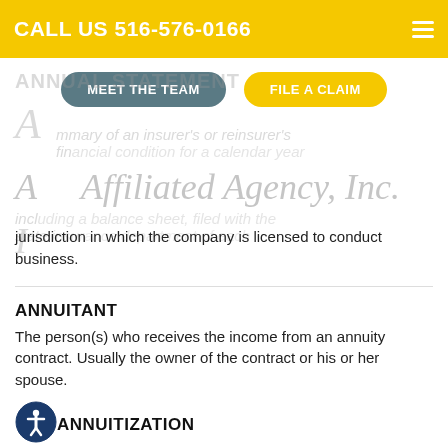CALL US 516-576-0166
[Figure (other): Navigation buttons: MEET THE TEAM (grey pill) and FILE A CLAIM (yellow pill)]
[Figure (other): Watermark overlay showing ANNUAL STATEMENT heading and Affiliated Agency, Inc. cursive logo with faded background text about insurer financial condition summary]
jurisdiction in which the company is licensed to conduct business.
ANNUITANT
The person(s) who receives the income from an annuity contract. Usually the owner of the contract or his or her spouse.
ANNUITIZATION
The conversion of the account balance of a deferred annuity contract to income